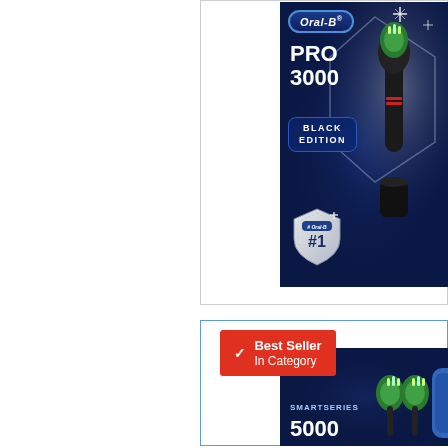[Figure (photo): Oral-B PRO 3000 Black Edition electric toothbrush product packaging on dark navy background, showing the toothbrush handle with brush head and a #1 shield badge. The box prominently displays 'Oral-B', 'PRO 3000', and 'BLACK EDITION' text.]
[Figure (photo): Oral-B SmartSeries 5000 electric toothbrush product listing with a red 'Best Seller In Category' badge overlaid on the product image showing toothbrush heads and blue carrying case on dark navy background.]